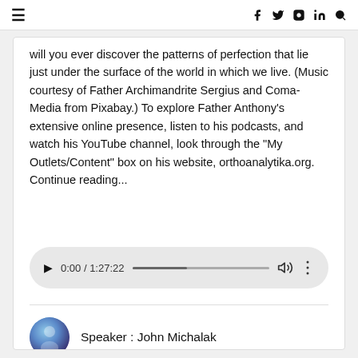≡  f  𝕏  ◎  in  🔍
will you ever discover the patterns of perfection that lie just under the surface of the world in which we live. (Music courtesy of Father Archimandrite Sergius and Coma-Media from Pixabay.) To explore Father Anthony's extensive online presence, listen to his podcasts, and watch his YouTube channel, look through the "My Outlets/Content" box on his website, orthoanalytika.org.
Continue reading...
[Figure (other): Audio player widget showing 0:00 / 1:27:22 with play button, progress bar, volume icon, and more options.]
Speaker : John Michalak